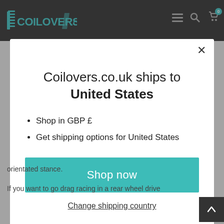COILOVERS.CO.UK
Coilovers.co.uk ships to United States
Shop in GBP £
Get shipping options for United States
Shop now
Change shipping country
orientated stance.
If you want to go drag racing in a rear wheel drive